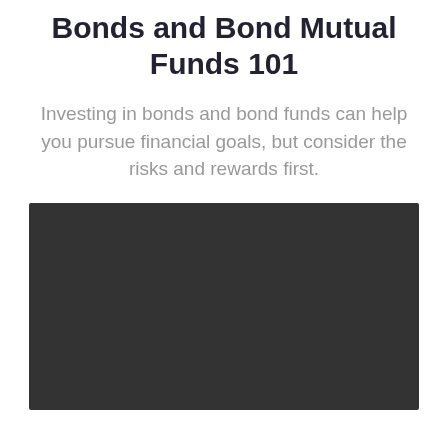Bonds and Bond Mutual Funds 101
Investing in bonds and bond funds can help you pursue financial goals, but consider the risks and rewards first.
[Figure (photo): Dark rectangular image placeholder, likely a video thumbnail or photo related to bonds and bond mutual funds.]